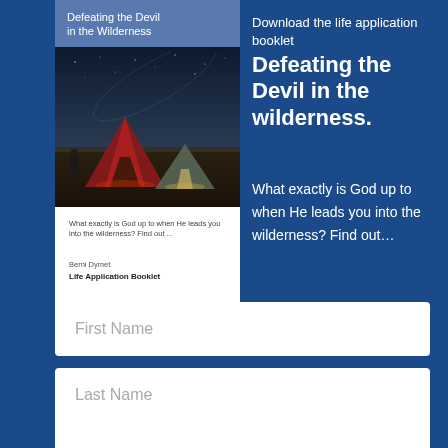[Figure (illustration): Book cover for 'Defeating the Devil in the Wilderness' showing a person standing in a dark landscape with tents and night sky]
Download the life application booklet
Defeating the Devil in the wilderness.
What exactly is God up to when He leads you into the wilderness? Find out...
First Name
Last Name